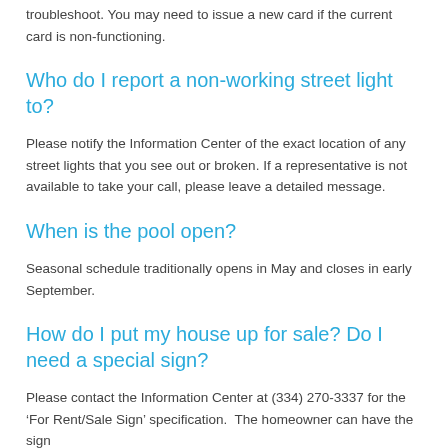troubleshoot. You may need to issue a new card if the current card is non-functioning.
Who do I report a non-working street light to?
Please notify the Information Center of the exact location of any street lights that you see out or broken. If a representative is not available to take your call, please leave a detailed message.
When is the pool open?
Seasonal schedule traditionally opens in May and closes in early September.
How do I put my house up for sale? Do I need a special sign?
Please contact the Information Center at (334) 270-3337 for the ‘For Rent/Sale Sign’ specification.  The homeowner can have the sign